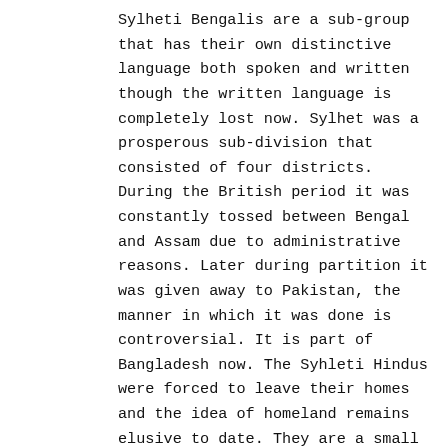Sylheti Bengalis are a sub-group that has their own distinctive language both spoken and written though the written language is completely lost now. Sylhet was a prosperous sub-division that consisted of four districts. During the British period it was constantly tossed between Bengal and Assam due to administrative reasons. Later during partition it was given away to Pakistan, the manner in which it was done is controversial. It is part of Bangladesh now. The Syhleti Hindus were forced to leave their homes and the idea of homeland remains elusive to date. They are a small community, politically they don't matter so their plight continues for decades.